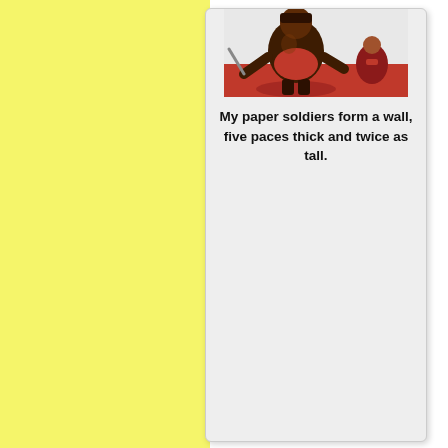[Figure (illustration): Illustrated character - a large dark-skinned soldier or warrior figure in red, with a smaller figure in the background, against a white/light background. Comic book style illustration.]
My paper soldiers form a wall, five paces thick and twice as tall.